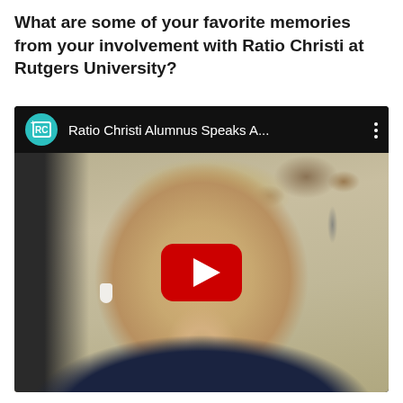What are some of your favorite memories from your involvement with Ratio Christi at Rutgers University?
[Figure (screenshot): YouTube video embed showing a young blonde man wearing AirPods and a dark blue jacket, sitting in a room with a ceiling fan visible in the upper right. The video title bar reads 'Ratio Christi Alumnus Speaks A...' with the RC teal logo on the left. A red YouTube play button is overlaid in the center of the video thumbnail.]